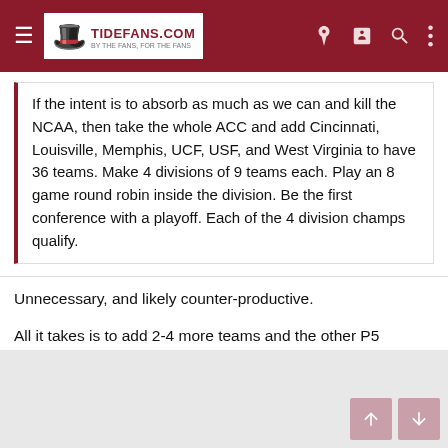TideFans.com
If the intent is to absorb as much as we can and kill the NCAA, then take the whole ACC and add Cincinnati, Louisville, Memphis, UCF, USF, and West Virginia to have 36 teams. Make 4 divisions of 9 teams each. Play an 8 game round robin inside the division. Be the first conference with a playoff. Each of the 4 division champs qualify.
Unnecessary, and likely counter-productive.
All it takes is to add 2-4 more teams and the other P5 conferences will see what's coming - they will either adapt (build another mega-conference) or they will die. IOW, the SEC just has to push the ball up the field here and the NCAA will be finished - the SEC doesn't have to single-handedly drive the stake through the heart.